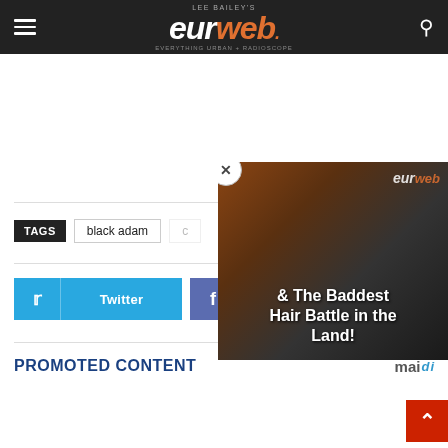Lee Bailey's EURweb - Everything Urban + Radioscope
TAGS  black adam
[Figure (screenshot): Video popup overlay showing EURweb logo and text '& The Baddest Hair Battle in the Land!' with a close (X) button, over a background of a person having hair done.]
Twitter  Facebook
PROMOTED CONTENT  maid